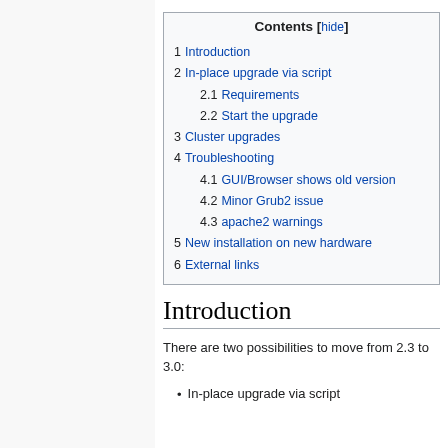| Contents |
| --- |
| 1 Introduction |
| 2 In-place upgrade via script |
| 2.1 Requirements |
| 2.2 Start the upgrade |
| 3 Cluster upgrades |
| 4 Troubleshooting |
| 4.1 GUI/Browser shows old version |
| 4.2 Minor Grub2 issue |
| 4.3 apache2 warnings |
| 5 New installation on new hardware |
| 6 External links |
Introduction
There are two possibilities to move from 2.3 to 3.0:
In-place upgrade via script